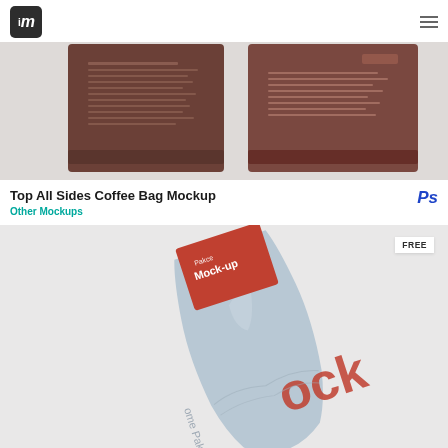im logo and hamburger menu
[Figure (photo): Two dark brown coffee bags viewed from the top/all sides, on a light grey background]
Top All Sides Coffee Bag Mockup
Ps
Other Mockups
[Figure (photo): Silver/aluminium coffee bag mockup with red label panel showing 'Pakce Mock-up' text and 'ome Pakage' and 'ock' text on the bag, FREE badge in top right corner]